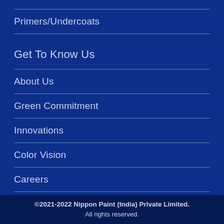Primers/Undercoats
Get To Know Us
About Us
Green Commitment
Innovations
Color Vision
Careers
©2021-2022 Nippon Paint (India) Private Limited. All rights reserved.